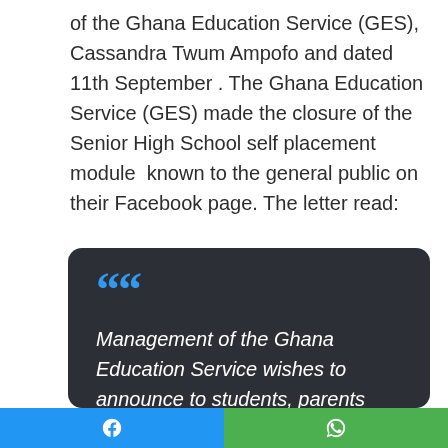of the Ghana Education Service (GES), Cassandra Twum Ampofo and dated 11th September . The Ghana Education Service (GES) made the closure of the Senior High School self placement module  known to the general public on their Facebook page. The letter read:
““ Management of the Ghana Education Service wishes to announce to students, parents and the general public that the
Facebook | WhatsApp